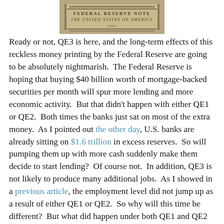[Figure (photo): Close-up photo of US currency (Federal Reserve Note) showing ornate engraved text and design elements]
Ready or not, QE3 is here, and the long-term effects of this reckless money printing by the Federal Reserve are going to be absolutely nightmarish. The Federal Reserve is hoping that buying $40 billion worth of mortgage-backed securities per month will spur more lending and more economic activity. But that didn’t happen with either QE1 or QE2. Both times the banks just sat on most of the extra money. As I pointed out the other day, U.S. banks are already sitting on $1.6 trillion in excess reserves. So will pumping them up with more cash suddenly make them decide to start lending? Of course not. In addition, QE3 is not likely to produce many additional jobs. As I showed in a previous article, the employment level did not jump up as a result of either QE1 or QE2. So why will this time be different? But what did happen under both QE1 and QE2 is that a lot of the money ended up pumping up the